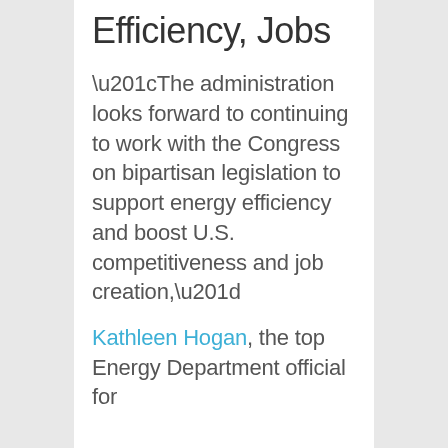Efficiency, Jobs
“The administration looks forward to continuing to work with the Congress on bipartisan legislation to support energy efficiency and boost U.S. competitiveness and job creation,”
Kathleen Hogan, the top Energy Department official for